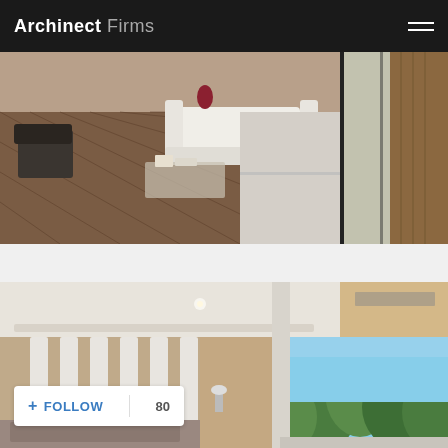Archinect Firms
[Figure (photo): Interior photo showing a modern living room with chairs, a sofa, a patterned rug, and large glass sliding doors opening to an exterior concrete and wood terrace area]
[Figure (photo): Interior photo showing a modern bedroom with vertical white paneled wall, coffered ceiling, and large glass opening to outdoor area with trees and sky visible]
+ FOLLOW  80